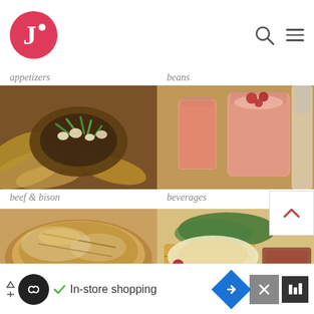[Figure (screenshot): App logo: red circle with white letter J and dot]
appetizers
beans
[Figure (photo): Beef & bison dish with potato wedges, cheese curds, and green onions]
[Figure (photo): Raspberry/strawberry beverages in glasses on a wooden board]
beef & bison
beverages
[Figure (photo): Rustic artisan bread loaf]
[Figure (photo): Breakfast plate with egg Benedict, raspberries, and greens]
In-store shopping